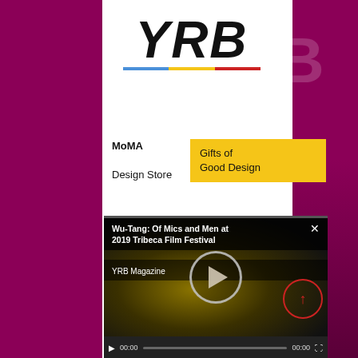[Figure (screenshot): YRB Magazine website screenshot showing YRB logo with colored underline, MoMA Design Store Gifts of Good Design banner, and a video player embed for Wu-Tang: Of Mics and Men at 2019 Tribeca Film Festival]
YRB
[Figure (logo): YRB text logo with three-color underline: blue, yellow, red]
[Figure (photo): MoMA Design Store banner advertisement - Gifts of Good Design, yellow background]
[Figure (screenshot): Video player showing Wu-Tang: Of Mics and Men at 2019 Tribeca Film Festival by YRB Magazine, with play button, progress bar showing 00:00 / 00:00, and a red scroll-up circle button overlay]